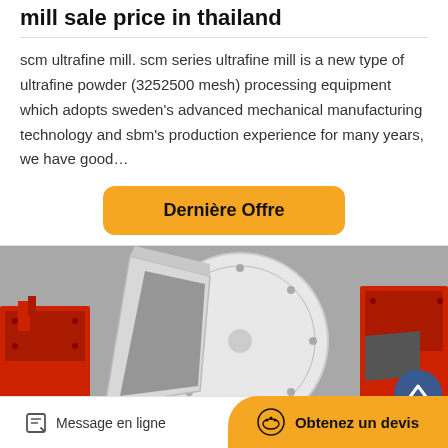mill sale price in thailand
scm ultrafine mill. scm series ultrafine mill is a new type of ultrafine powder (3252500 mesh) processing equipment which adopts sweden's advanced mechanical manufacturing technology and sbm's production experience for many years, we have good…
Dernière Offre
[Figure (photo): Industrial red and white ball mill / hammer mill machinery equipment photographed outdoors against a grey background]
Message en ligne
Obtenez un devis